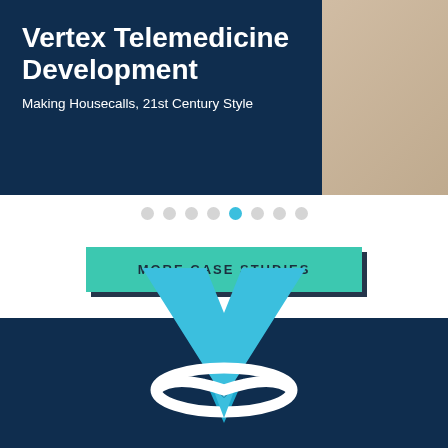[Figure (photo): Hero banner with dark navy overlay on left side showing telemedicine branding, and a photo background on the right]
Vertex Telemedicine Development
Making Housecalls, 21st Century Style
[Figure (infographic): Pagination dots row with 7 dots, the 5th one highlighted in cyan/teal]
MORE CASE STUDIES
[Figure (logo): Vertex logo: large cyan V shape with white elliptical ring, on dark navy background]